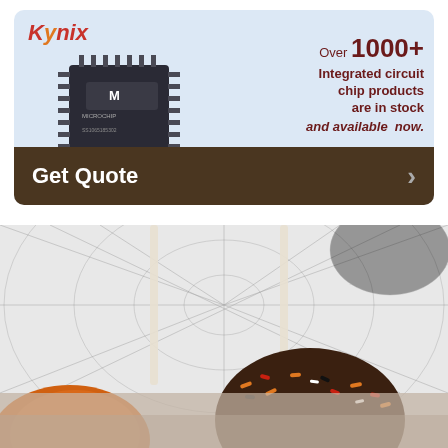[Figure (infographic): Kynix advertisement banner showing a Microchip integrated circuit chip on a light blue background. Text reads: Over 1000+ Integrated circuit chip products are in stock and available now. Brown bar at bottom with Get Quote button and arrow.]
[Figure (photo): Photo of Halloween-themed chocolate-dipped cake pops or caramel apples on sticks, decorated with orange, red, and black sprinkles, against a spider web patterned background. Partially cropped second image strip at the very bottom.]